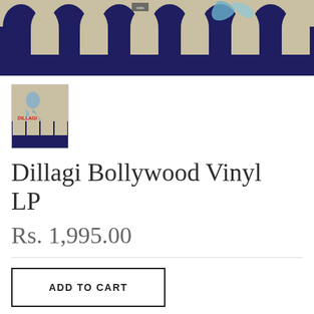[Figure (photo): Bollywood album cover art showing arched architecture in blue and beige tones with a decorative figure, banner image]
[Figure (photo): Thumbnail of Dillagi Bollywood Vinyl LP album cover art with arched architecture in blue and beige, with red DILLAGI text]
Dillagi Bollywood Vinyl LP
Rs. 1,995.00
ADD TO CART
Share
Tweet
Pin it
+1